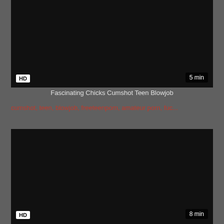[Figure (screenshot): Dark black video thumbnail with HD badge bottom-left and 5 min duration badge bottom-right]
Fascinating Chicks Cumshot Teen Blowjob
cumshot, teen, blowjob, freeteenporn, amateur porn, fuc...
[Figure (screenshot): Dark black video thumbnail with HD badge bottom-left and 8 min duration badge bottom-right]